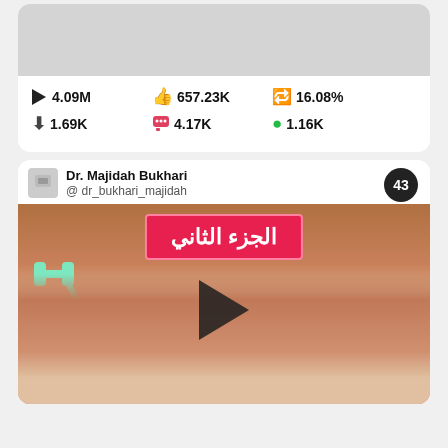[Figure (screenshot): Top card showing a gray video thumbnail with social media stats: 4.09M plays, 657.23K likes, 16.08% engagement, 1.69K saves, 4.17K comments, 1.16K shares]
▶ 4.09M   👍657.23K   🔁16.08%   ⬇1.69K   💬4.17K   🟢1.16K
[Figure (screenshot): Second card: Dr. Majidah Bukhari @dr_bukhari_majidah, badge 43, video thumbnail showing a woman's face with Arabic text banner (الجزء الثاني) and teal dumbbells graphic overlay, play button in center]
Dr. Majidah Bukhari
@ dr_bukhari_majidah